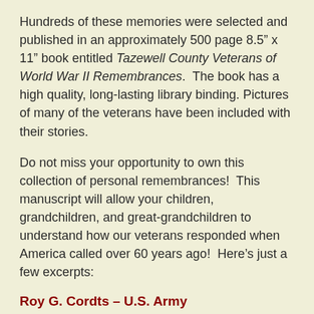Hundreds of these memories were selected and published in an approximately 500 page 8.5" x 11" book entitled Tazewell County Veterans of World War II Remembrances. The book has a high quality, long-lasting library binding. Pictures of many of the veterans have been included with their stories.
Do not miss your opportunity to own this collection of personal remembrances! This manuscript will allow your children, grandchildren, and great-grandchildren to understand how our veterans responded when America called over 60 years ago! Here's just a few excerpts:
Roy G. Cordts – U.S. Army